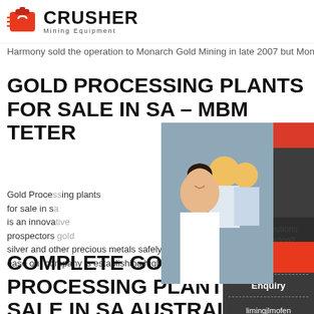CRUSHER Mining Equipment
Harmony sold the operation to Monarch Gold Mining in late 2007 but Monarch Harmony expects the
GOLD PROCESSING PLANTS FOR SALE IN SA – MBM TETER
Gold Processing plants for sale in sa is an innovative prospectors silver and other precious metals safely efficiently ease our company is establishing higher ...
[Figure (photo): Live chat overlay with workers in hard hats and customer service representative, with 24Hrs Online banner, LIVE CHAT title, Chat now and Chat later buttons]
COMPLETE GOLD PROCESSING PLANTS FOR SALE IN SA AUSTRALIA